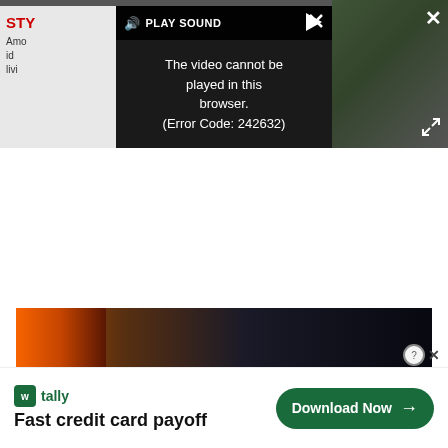[Figure (screenshot): Video player overlay showing 'PLAY SOUND' bar with speaker icon and play arrow, with error message 'The video cannot be played in this browser. (Error Code: 242632)' on dark background. Left side shows partial article card with red 'STY' text and partial body text. Top right has a white X close button. Bottom right has an expand arrow icon.]
[Figure (photo): Dark thumbnail image of a room interior with fire/glow visible on the left side]
[Figure (screenshot): Advertisement banner for Tally app. Shows green Tally logo with 'w tally' text, tagline 'Fast credit card payoff', and green 'Download Now' button with arrow. Close icons (? circle and X) in top right corner.]